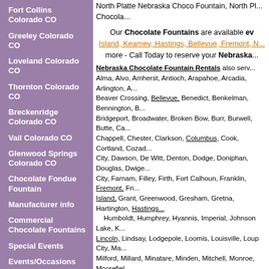Fort Collins Colorado CO
Greeley Colorado CO
Loveland Colorado CO
Thornton Colorado CO
Breckenridge Colorado CO
Vail Colorado CO
Glenwood Springs Colorado CO
Chocolate Fondue Fountain
Manufacturer info
Commercial Chocolate Fountains
Special Events
Events/Occasions
Fountain Questions
Contact Us
Links
Site Map
Used Chocolate Fountains
North Platte Nebraska Choco Fountain, North Pl... Chocola...
Our Chocolate Fountains are available ev... Island, Kearney, Hastings, Bellevue, Fremont, N... more - Call Today to reserve your Nebraska... Nebraska Chocolate Fountain Rentals also serv... Alma, Alvo, Amherst, Antioch, Arapahoe, Arcadia, Arlington, A... Beaver Crossing, Bellevue, Benedict, Benkelman, Bennington, B... Bridgeport, Broadwater, Broken Bow, Burr, Burwell, Butte, Ca... Chappell, Chester, Clarkson, Columbus, Cook, Cortland, Cozad... City, Dawson, De Witt, Denton, Dodge, Doniphan, Douglas, Dwige... City, Farnam, Filley, Firth, Fort Calhoun, Franklin, Fremont, Fri... Island, Grant, Greenwood, Gresham, Gretna, Hartington, Hastings... Humboldt, Humphrey, Hyannis, Imperial, Johnson Lake, K... Lincoln, Lindsay, Lodgepole, Loomis, Louisville, Loup City, Ma... Milford, Millard, Minatare, Minden, Mitchell, Monroe, Moorefiel... North Loup, North Platte, Oakland, Odell, Offutt Air Force Base... Panama, Papillion, Pawnee City, Pender, Pickrell, Pierce, Pilger,... Randolph, Ravenna, Raymond, Red Cloud, Richland, Riverdale, R... Scottsbluff, Scribner, Seward, Shelton, Shubert, Sidney, Silver C... Stella, Sterling, Stockville, Stromsburg, Stuart, Superior, Sutton,... Verdon, Waco, Wahoo, Wakefield, Waterloo, Wausa, Waverly, Wa... Wymore, York, Yutan Nebr...
Home | Chocolate Fountains | Chocolate Fou... Dipping Goodies - Ideas | Fountain Chocola... Fountain | Chocolate Fountain Sales | 50 St... Nebraska Rental | Grand Island Nebraska N... Nebraska NE | Columbus Nebraska NE | Norfe... NE | North Platte Nebraska NE | Hastings Ne... Lincoln Nebraska NE | Denver Colorado CO...